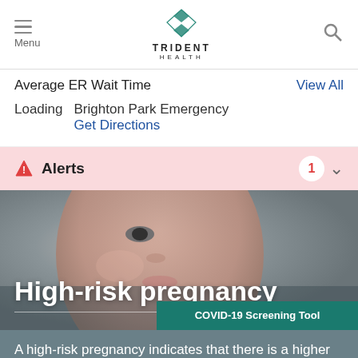Menu | TRIDENT HEALTH | Search
Average ER Wait Time | View All
Loading | Brighton Park Emergency | Get Directions
Alerts 1
[Figure (photo): Close-up photo of a woman's face, appearing to be resting or sleeping, used as a hero image for high-risk pregnancy article]
High-risk pregnancy
COVID-19 Screening Tool
A high-risk pregnancy indicates that there is a higher likelihood of a disease or condition that may put